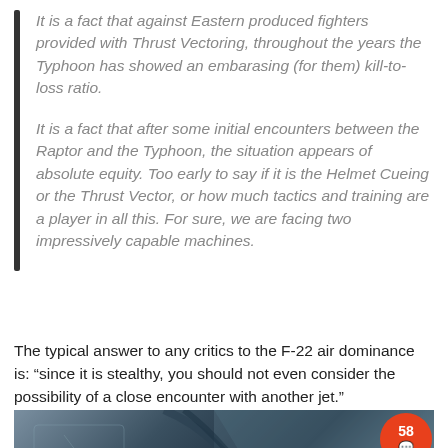It is a fact that against Eastern produced fighters provided with Thrust Vectoring, throughout the years the Typhoon has showed an embarasing (for them) kill-to-loss ratio.
It is a fact that after some initial encounters between the Raptor and the Typhoon, the situation appears of absolute equity. Too early to say if it is the Helmet Cueing or the Thrust Vector, or how much tactics and training are a player in all this. For sure, we are facing two impressively capable machines.
The typical answer to any critics to the F-22 air dominance is: “since it is stealthy, you should not even consider the possibility of a close encounter with another jet.”
[Figure (photo): Partial photograph of a military jet aircraft, showing the cockpit and fuselage area with blue sky and clouds in the background. Dark blue-grey tones dominate. A notification badge with the number 58 and a chat icon appears in the bottom-right corner.]